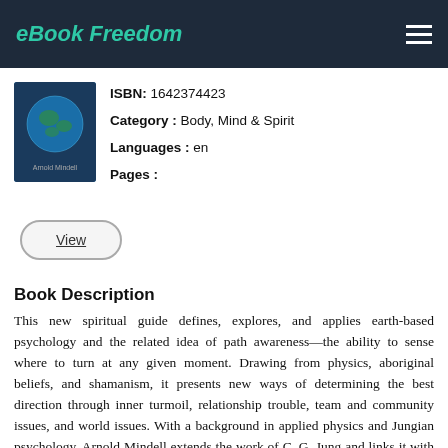eBook Freedom
[Figure (photo): Book cover image showing Earth from space with author name Arnold Mindell]
ISBN: 1642374423
Category : Body, Mind & Spirit
Languages : en
Pages :
View
Book Description
This new spiritual guide defines, explores, and applies earth-based psychology and the related idea of path awareness—the ability to sense where to turn at any given moment. Drawing from physics, aboriginal beliefs, and shamanism, it presents new ways of determining the best direction through inner turmoil, relationship trouble, team and community issues, and world issues. With a background in applied physics and Jungian psychology, Arnold Mindell extends the work of C. G. Jung and links it with diverse disciplines and wisdom traditions, making scientific ideas accessible to non-technical readers. He presents theory and experiential exercises in a simple and imaginative